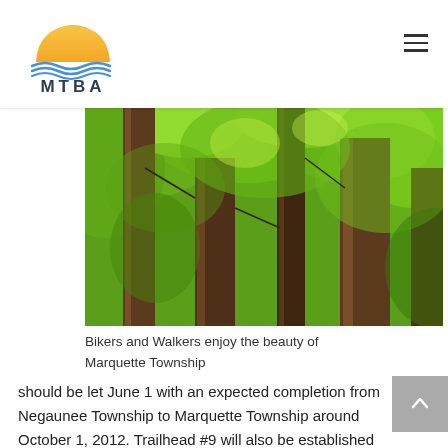MTBA
[Figure (photo): Forest scene with tall tree trunks and bright green foliage — Marquette Township trails]
Bikers and Walkers enjoy the beauty of Marquette Township
should be let June 1 with an expected completion from Negaunee Township to Marquette Township around October 1, 2012. Trailhead #9 will also be established by the